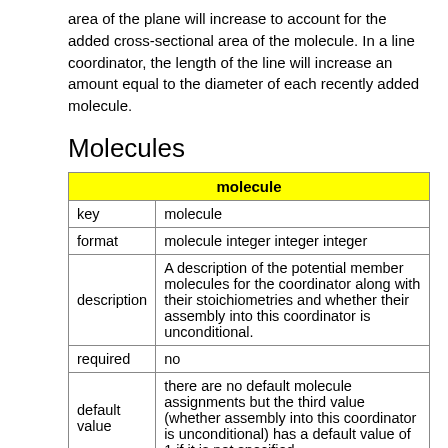area of the plane will increase to account for the added cross-sectional area of the molecule. In a line coordinator, the length of the line will increase an amount equal to the diameter of each recently added molecule.
Molecules
| molecule |
| --- |
| key | molecule |
| format | molecule integer integer integer |
| description | A description of the potential member molecules for the coordinator along with their stoichiometries and whether their assembly into this coordinator is unconditional. |
| required | no |
| default value | there are no default molecule assignments but the third value (whether assembly into this coordinator is unconditional) has a default value of 1 if it is not specified |
| example | molecule 1 2 |
Notes: